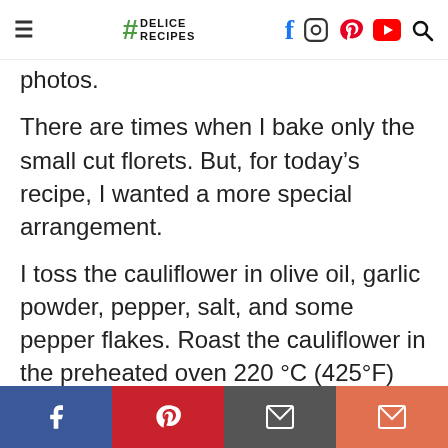Delice Recipes — navigation bar with logo and social icons
photos.
There are times when I bake only the small cut florets. But, for today's recipe, I wanted a more special arrangement.
I toss the cauliflower in olive oil, garlic powder, pepper, salt, and some pepper flakes. Roast the cauliflower in the preheated oven 220 °C (425°F) for about 15 minutes until the veggie is soft, tender and golden. Add parmesan on top, and bake for 2 minutes more. When the
Social share bar: Facebook, Pinterest, Mail, Email